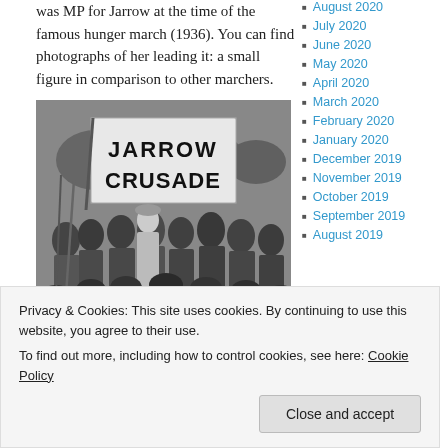was MP for Jarrow at the time of the famous hunger march (1936). You can find photographs of her leading it: a small figure in comparison to other marchers.
[Figure (photo): Black and white photograph of the Jarrow Crusade. A crowd of people with a large banner reading 'JARROW CRUSADE'. A woman stands prominently in the center foreground, surrounded by marchers in coats and hats.]
August 2020
July 2020
June 2020
May 2020
April 2020
March 2020
February 2020
January 2020
December 2019
November 2019
October 2019
September 2019
August 2019
Privacy & Cookies: This site uses cookies. By continuing to use this website, you agree to their use. To find out more, including how to control cookies, see here: Cookie Policy
Close and accept